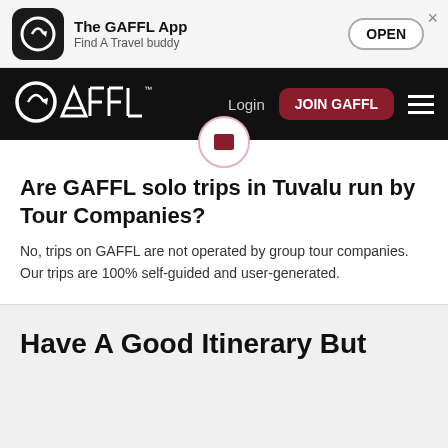The GAFFL App – Find A Travel buddy – OPEN
[Figure (screenshot): GAFFL website navigation bar with logo, Login link, JOIN GAFFL button, and hamburger menu]
Are GAFFL solo trips in Tuvalu run by Tour Companies?
No, trips on GAFFL are not operated by group tour companies. Our trips are 100% self-guided and user-generated.
Have A Good Itinerary But